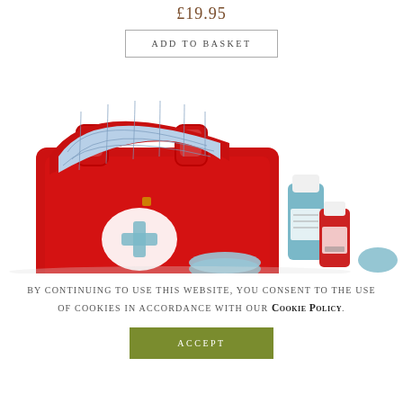£19.95
Add to basket
[Figure (photo): Red toy first aid kit / medical bag with open lid showing blue checkered interior lining, a white and blue cross symbol on the front, and accompanying toy medicine bottles and accessories scattered around it]
By continuing to use this website, you consent to the use of cookies in accordance with our Cookie Policy.
Accept